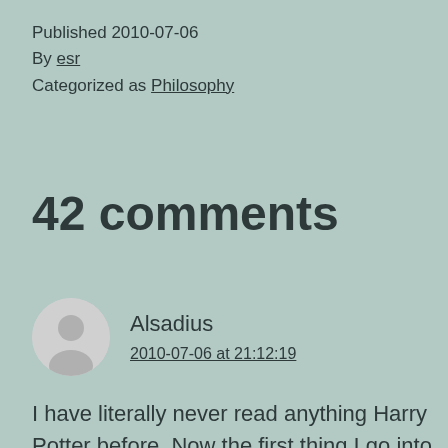Published 2010-07-06
By esr
Categorized as Philosophy
42 comments
Alsadius
2010-07-06 at 21:12:19
I have literally never read anything Harry Potter before. Now the first thing I go into in the